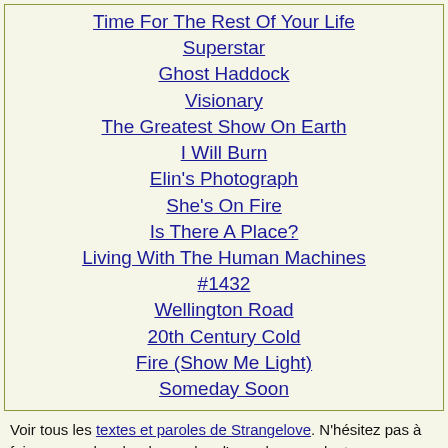Time For The Rest Of Your Life
Superstar
Ghost Haddock
Visionary
The Greatest Show On Earth
I Will Burn
Elin's Photograph
She's On Fire
Is There A Place?
Living With The Human Machines
#1432
Wellington Road
20th Century Cold
Fire (Show Me Light)
Someday Soon
Voir tous les textes et paroles de Strangelove. N'hésitez pas à faire une recherche de paroles d'une chanson dont vous ne connaissez qu'un morceau de texte avec notre moteur de paroles et chansons